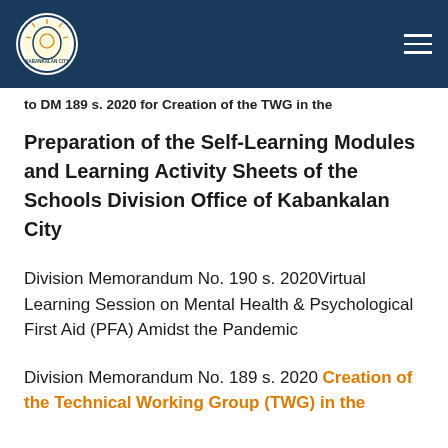Schools Division Office of Kabankalan City — navigation header
to DM 189 s. 2020 for Creation of the TWG in the Preparation of the Self-Learning Modules and Learning Activity Sheets of the Schools Division Office of Kabankalan City
Division Memorandum No. 190 s. 2020Virtual Learning Session on Mental Health & Psychological First Aid (PFA) Amidst the Pandemic
Division Memorandum No. 189 s. 2020 Creation of the Technical Working Group (TWG) in the